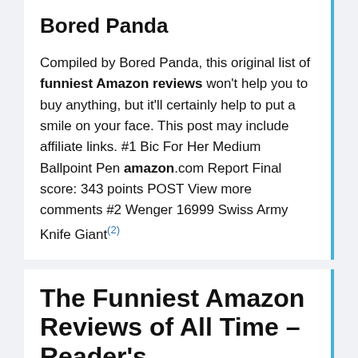Bored Panda
Compiled by Bored Panda, this original list of funniest Amazon reviews won't help you to buy anything, but it'll certainly help to put a smile on your face. This post may include affiliate links. #1 Bic For Her Medium Ballpoint Pen amazon.com Report Final score: 343 points POST View more comments #2 Wenger 16999 Swiss Army Knife Giant(2)
The Funniest Amazon Reviews of All Time - Reader's